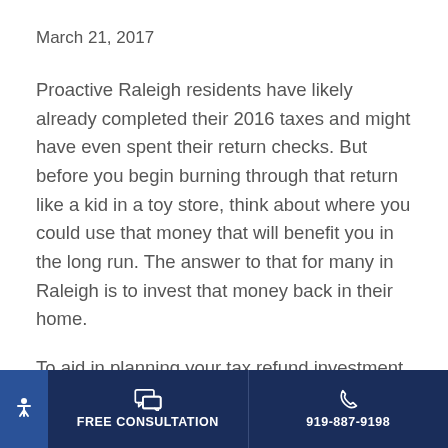March 21, 2017
Proactive Raleigh residents have likely already completed their 2016 taxes and might have even spent their return checks. But before you begin burning through that return like a kid in a toy store, think about where you could use that money that will benefit you in the long run. The answer to that for many in Raleigh is to invest that money back in their home.
To aid in planning your tax refund investment, we've put together a few of the best home projects
FREE CONSULTATION | 919-887-9198